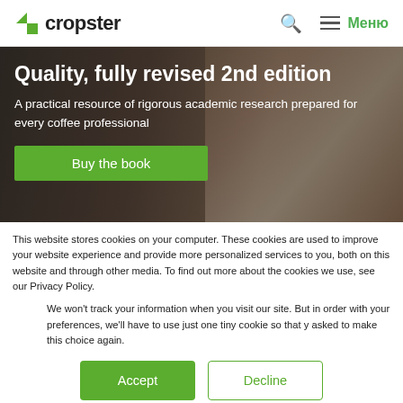cropster
[Figure (screenshot): Hero banner with dark background showing coffee books/magazines, with bold white text overlaid]
Quality, fully revised 2nd edition
A practical resource of rigorous academic research prepared for every coffee professional
Buy the book
This website stores cookies on your computer. These cookies are used to improve your website experience and provide more personalized services to you, both on this website and through other media. To find out more about the cookies we use, see our Privacy Policy.
We won't track your information when you visit our site. But in order with your preferences, we'll have to use just one tiny cookie so that y asked to make this choice again.
Accept
Decline